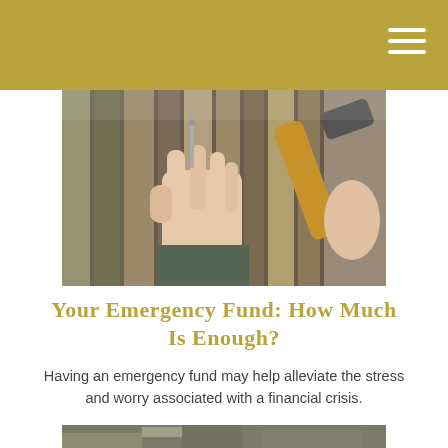[Figure (photo): A hand holding a nail against wooden fence boards while another hand holds a hammer, poised to strike]
Your Emergency Fund: How Much Is Enough?
Having an emergency fund may help alleviate the stress and worry associated with a financial crisis.
[Figure (photo): Partial view of a second photo at the bottom of the page, partially cut off]